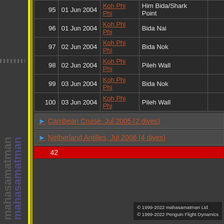| # | Date | Location | Site |  |
| --- | --- | --- | --- | --- |
| 95 | 01 Jun 2004 | Koh Phi Phi | Him Bida/Shark Point |  |
| 96 | 01 Jun 2004 | Koh Phi Phi | Bida Nai |  |
| 97 | 02 Jun 2004 | Koh Phi Phi | Bida Nok |  |
| 98 | 02 Jun 2004 | Koh Phi Phi | Pileh Wall |  |
| 99 | 03 Jun 2004 | Koh Phi Phi | Bida Nok |  |
| 100 | 03 Jun 2004 | Koh Phi Phi | Pileh Wall |  |
Carribean Cruise, Jul 2005 (2 dives)
Netherland Antilles, Jul 2006 (4 dives)
42
© 1999-2022 mahasamatman Ltd
© 1999-2022 Penguin Flight Dynamics